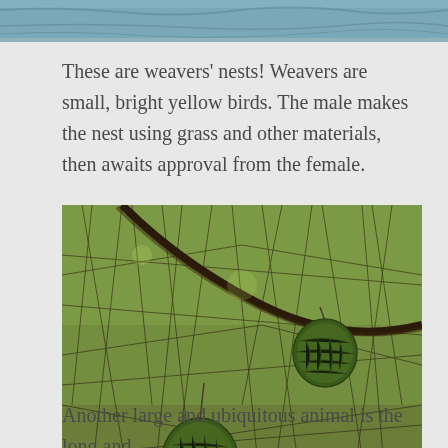[Figure (photo): Top portion of a water/river scene photo, cropped at the top of the page showing rippled water surface.]
These are weavers' nests! Weavers are small, bright yellow birds. The male makes the nest using grass and other materials, then awaits approval from the female.
[Figure (photo): Photo of two green woven bird nests hanging from thorny tree branches, with green grass/field visible in the background.]
Another large and ubiquitous animal is the long and